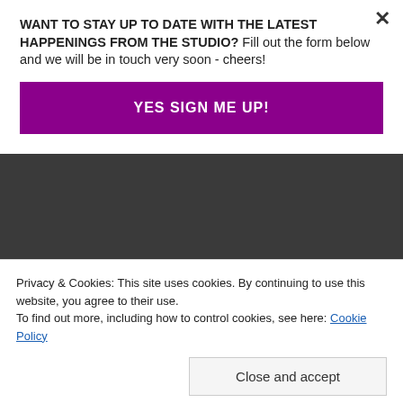WANT TO STAY UP TO DATE WITH THE LATEST HAPPENINGS FROM THE STUDIO? Fill out the form below and we will be in touch very soon - cheers!
YES SIGN ME UP!
sandy-adams.com
Yes, someone had shaved his body and legs down to his bare skin and just left him inside the dog park.  No collar, covered in fleas and a horrible
Privacy & Cookies: This site uses cookies. By continuing to use this website, you agree to their use.
To find out more, including how to control cookies, see here: Cookie Policy
Close and accept
antibiotics along with all required shots.  It took a